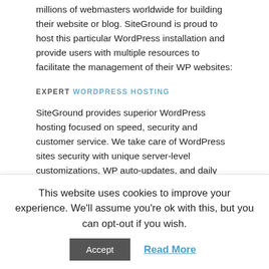millions of webmasters worldwide for building their website or blog. SiteGround is proud to host this particular WordPress installation and provide users with multiple resources to facilitate the management of their WP websites:
EXPERT WORDPRESS HOSTING
SiteGround provides superior WordPress hosting focused on speed, security and customer service. We take care of WordPress sites security with unique server-level customizations, WP auto-updates, and daily backups. We make them faster by regularly upgrading our hardware, offering free CDN with Railgun and developing our SuperCacher that speeds sites up to 100 times! And last but not least, we provide real WordPress help 24/7! Learn more about SiteGround WordPress hosting
This website uses cookies to improve your experience. We'll assume you're ok with this, but you can opt-out if you wish.
Accept   Read More